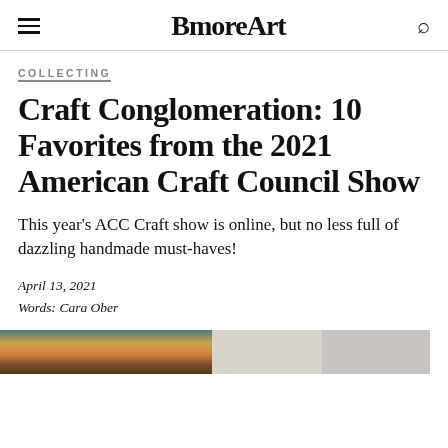BmoreArt
COLLECTING
Craft Conglomeration: 10 Favorites from the 2021 American Craft Council Show
This year's ACC Craft show is online, but no less full of dazzling handmade must-haves!
April 13, 2021
Words: Cara Ober
[Figure (photo): Three images at the bottom of the article preview: a colorful woven textile, and two lighter abstract images]